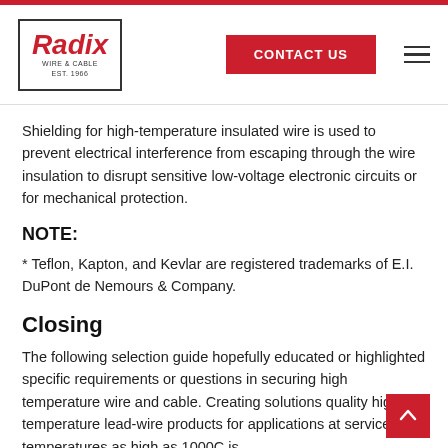Radix Wire & Cable | CONTACT US
Shielding for high-temperature insulated wire is used to prevent electrical interference from escaping through the wire insulation to disrupt sensitive low-voltage electronic circuits or for mechanical protection.
NOTE:
* Teflon, Kapton, and Kevlar are registered trademarks of E.I. DuPont de Nemours & Company.
Closing
The following selection guide hopefully educated or highlighted specific requirements or questions in securing high temperature wire and cable. Creating solutions quality high- temperature lead-wire products for applications at service temperatures as high as 1000C is